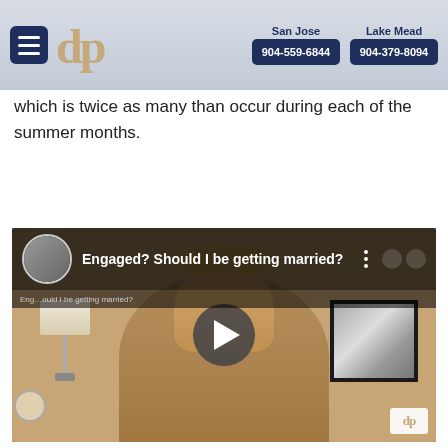San Jose 904-559-6844 | Lake Mead 904-379-8094
which is twice as many than occur during each of the summer months.
[Figure (screenshot): YouTube-style embedded video thumbnail showing a man seated indoors. Video title: 'Engaged? Should I be getting married?' with a play button overlay and avatar of a man in a suit.]